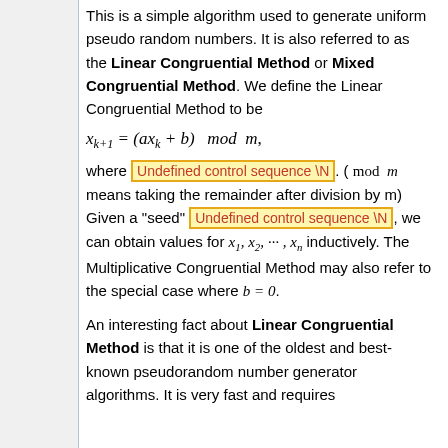This is a simple algorithm used to generate uniform pseudo random numbers. It is also referred to as the Linear Congruential Method or Mixed Congruential Method. We define the Linear Congruential Method to be x_{k+1} = (ax_k + b) mod m, where [Undefined control sequence \N]. (mod m means taking the remainder after division by m) Given a "seed" [Undefined control sequence \N], we can obtain values for x_1, x_2, ..., x_n inductively. The Multiplicative Congruential Method may also refer to the special case where b = 0.
An interesting fact about Linear Congruential Method is that it is one of the oldest and best-known pseudorandom number generator algorithms. It is very fast and requires